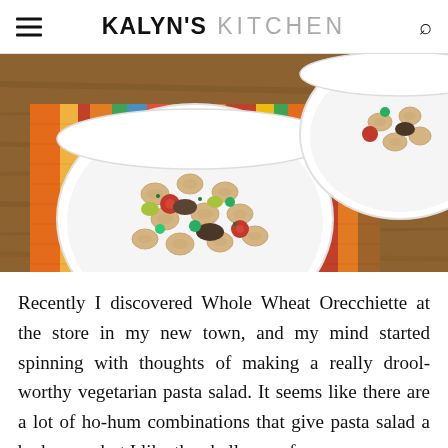KALYN'S KITCHEN
[Figure (photo): Overhead photo of two white bowls filled with whole wheat orecchiette pasta salad with vegetables including tomatoes, mushrooms, and green vegetables, placed on a colorful striped cloth on a wooden table.]
Recently I discovered Whole Wheat Orecchiette at the store in my new town, and my mind started spinning with thoughts of making a really drool-worthy vegetarian pasta salad. It seems like there are a lot of ho-hum combinations that give pasta salad a bad name, but I like the challenge of